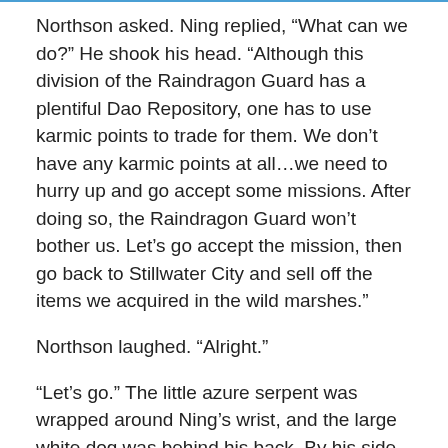Northson asked. Ning replied, “What can we do?” He shook his head. “Although this division of the Raindragon Guard has a plentiful Dao Repository, one has to use karmic points to trade for them. We don’t have any karmic points at all…we need to hurry up and go accept some missions. After doing so, the Raindragon Guard won’t bother us. Let’s go accept the mission, then go back to Stillwater City and sell off the items we acquired in the wild marshes.”
Northson laughed. “Alright.”
“Let’s go.” The little azure serpent was wrapped around Ning’s wrist, and the large white dog was behind his back. By his side was his junior apprentice-brother, Northson. The two of them went off to accept missions, and then…
“Back to Stillwater City!”
Ning, Northson, the Whitewater Hound, and Qingqing